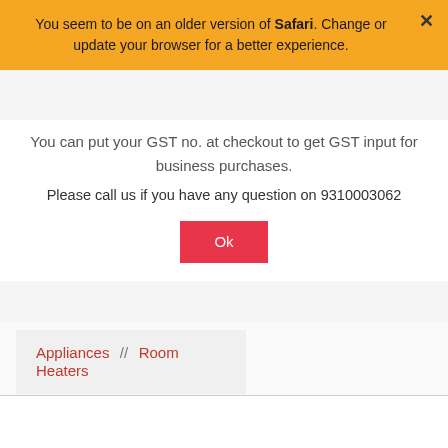You seem to be on an older version of Safari. Change or update your browser for a better experience.
You can put your GST no. at checkout to get GST input for business purchases.
Please call us if you have any question on 9310003062
Ok
dillimall.com
Appliances  //  Room Heaters